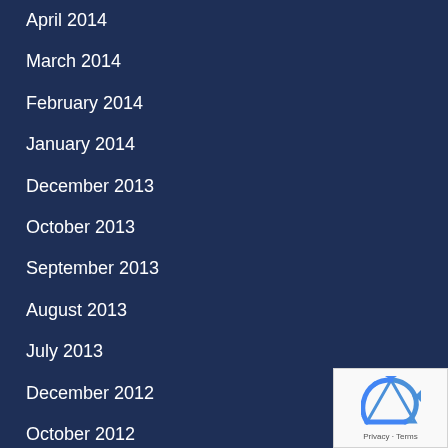April 2014
March 2014
February 2014
January 2014
December 2013
October 2013
September 2013
August 2013
July 2013
December 2012
October 2012
September 2012
July 2012
June 2012